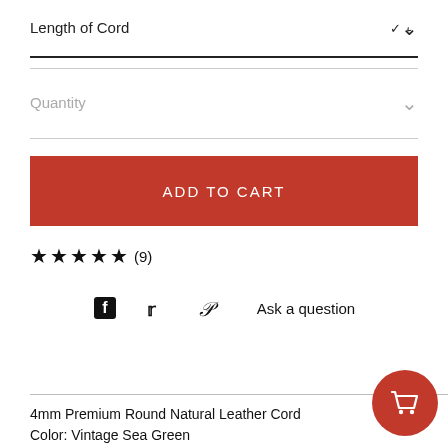Length of Cord
Quantity
ADD TO CART
★★★★★ (9)
Ask a question
4mm Premium Round Natural Leather Cord
Color: Vintage Sea Green
Shades of Blues and Greens